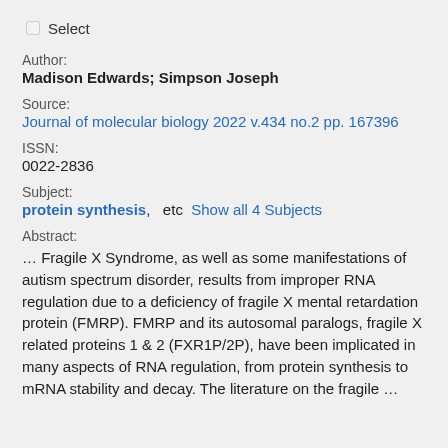Select
Author:
Madison Edwards; Simpson Joseph
Source:
Journal of molecular biology 2022 v.434 no.2 pp. 167396
ISSN:
0022-2836
Subject:
protein synthesis,   etc  Show all 4 Subjects
Abstract:
… Fragile X Syndrome, as well as some manifestations of autism spectrum disorder, results from improper RNA regulation due to a deficiency of fragile X mental retardation protein (FMRP). FMRP and its autosomal paralogs, fragile X related proteins 1 & 2 (FXR1P/2P), have been implicated in many aspects of RNA regulation, from protein synthesis to mRNA stability and decay. The literature on the fragile …